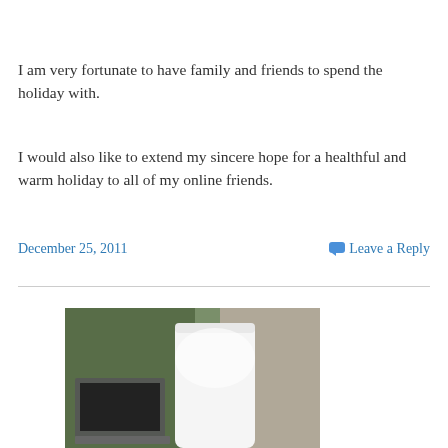I am very fortunate to have family and friends to spend the holiday with.
I would also like to extend my sincere hope for a healthful and warm holiday to all of my online friends.
December 25, 2011    Leave a Reply
[Figure (photo): A photograph showing a white cylindrical lamp or object in front of a laptop computer, with a blurred greenish background visible through a window.]